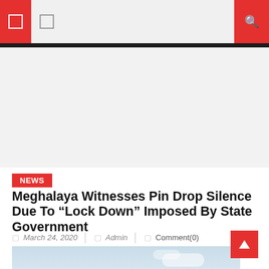Navigation bar with menu icons and search
[Figure (photo): Advertisement/banner area placeholder (white/light gray)]
NEWS
Meghalaya Witnesses Pin Drop Silence Due To “Lock Down” Imposed By State Government
March 24, 2020  Admin  Comment(0)
[Figure (photo): Photograph of empty street in Meghalaya showing buildings and a utility pole against a partly cloudy sky, demonstrating the lockdown silence.]